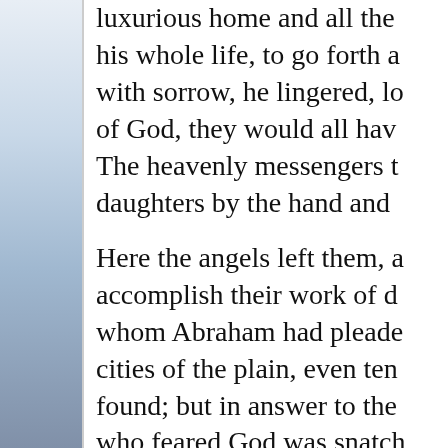[Figure (illustration): Left margin decorative panel with blue-gray gradient, suggesting sky or atmospheric background]
luxurious home and all the his whole life, to go forth a with sorrow, he lingered, lo of God, they would all have The heavenly messengers t daughters by the hand and
Here the angels left them, a accomplish their work of d whom Abraham had pleade cities of the plain, even ten found; but in answer to the who feared God was snatch command was given with s thy life; look not behind th plain; escape to the mounta Hesitancy or delay now wo